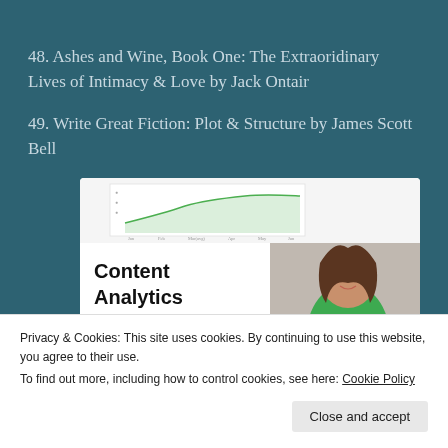48. Ashes and Wine, Book One: The Extraoridinary Lives of Intimacy & Love by Jack Ontair
49. Write Great Fiction: Plot & Structure by James Scott Bell
[Figure (infographic): Advertisement image for 'Content Analytics Made Easy' showing a chart and a woman in a green sweater]
Privacy & Cookies: This site uses cookies. By continuing to use this website, you agree to their use.
To find out more, including how to control cookies, see here: Cookie Policy
Close and accept